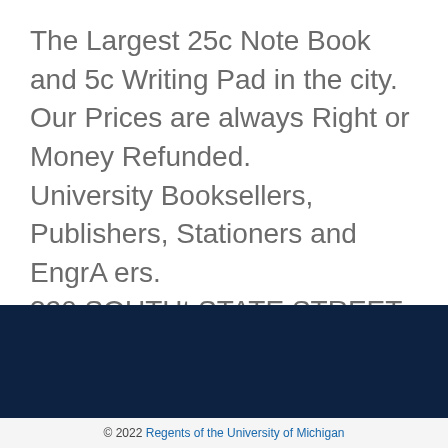The Largest 25c Note Book and 5c Writing Pad in the city.
Our Prices are always Right or Money Refunded.
University Booksellers, Publishers, Stationers and EngrA ers.
320 SOUTHt STATE STREET.
Help
Home
Back to Top
© 2022 Regents of the University of Michigan